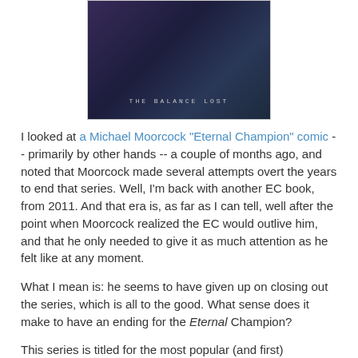[Figure (illustration): A comic book cover showing 'THE BALANCE LOST' text at the bottom, dark fantasy artwork with figures]
I looked at a Michael Moorcock "Eternal Champion" comic -- primarily by other hands -- a couple of months ago, and noted that Moorcock made several attempts overt the years to end that series. Well, I'm back with another EC book, from 2011. And that era is, as far as I can tell, well after the point when Moorcock realized the EC would outlive him, and that he only needed to give it as much attention as he felt like at any moment.
What I mean is: he seems to have given up on closing out the series, which is all to the good. What sense does it make to have an ending for the Eternal Champion?
This series is titled for the most popular (and first) incarnation of the EC, Elric, but he's joined by several others -- Dorian Hawkmoon, Corum of the Silver Hand, and a guy from what I probably shouldn't call Earth-Prime named Eric Beck -- to make this another multi-EC story like Sailor on the